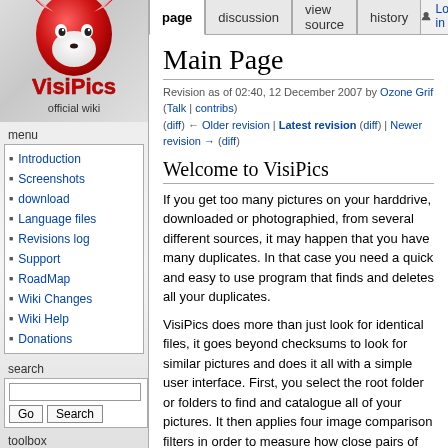[Figure (logo): VisiPics official wiki logo with red fox mascot and red/white text]
menu
Introduction
Screenshots
download
Language files
Revisions log
Support
RoadMap
Wiki Changes
Wiki Help
Donations
search
toolbox
page | discussion | view source | history | Log in
Main Page
Revision as of 02:40, 12 December 2007 by Ozone Grif (Talk | contribs) (diff) ← Older revision | Latest revision (diff) | Newer revision → (diff)
Welcome to VisiPics
If you get too many pictures on your harddrive, downloaded or photographied, from several different sources, it may happen that you have many duplicates. In that case you need a quick and easy to use program that finds and deletes all your duplicates.
VisiPics does more than just look for identical files, it goes beyond checksums to look for similar pictures and does it all with a simple user interface. First, you select the root folder or folders to find and catalogue all of your pictures. It then applies four image comparison filters in order to measure how close pairs of